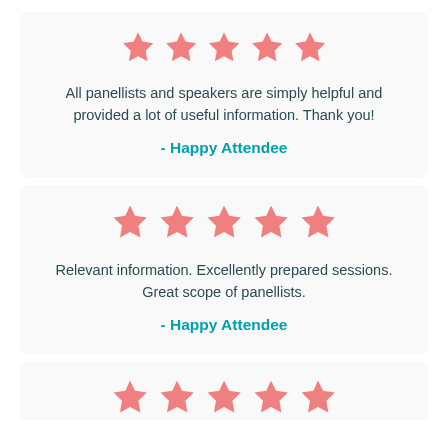[Figure (infographic): Five salmon/coral colored stars rating]
All panellists and speakers are simply helpful and provided a lot of useful information. Thank you!
- Happy Attendee
[Figure (infographic): Five salmon/coral colored stars rating]
Relevant information. Excellently prepared sessions. Great scope of panellists.
- Happy Attendee
[Figure (infographic): Five salmon/coral colored stars rating (partially visible)]